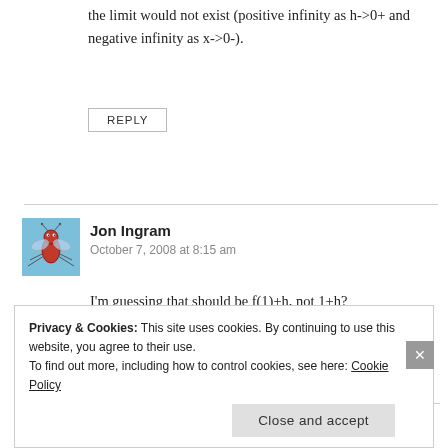the limit would not exist (positive infinity as h->0+ and negative infinity as x->0-).
REPLY
[Figure (illustration): Small cartoon avatar of a bug/mosquito character on a light blue square background]
Jon Ingram
October 7, 2008 at 8:15 am
I'm guessing that should be f(1)+h, not 1+h?
REPLY
Privacy & Cookies: This site uses cookies. By continuing to use this website, you agree to their use.
To find out more, including how to control cookies, see here: Cookie Policy
Close and accept